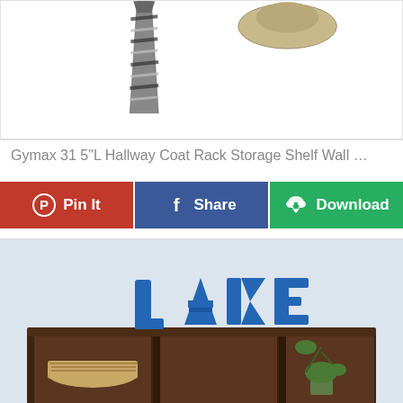[Figure (photo): Product photo showing a striped necktie on the left and a hat on the upper right, against a white background]
Gymax 31 5"L Hallway Coat Rack Storage Shelf Wall …
[Figure (infographic): Three action buttons: red Pin It, blue Share, green Download]
[Figure (photo): Photo of a dark brown wooden wall shelf with cubbies, topped with large blue distressed wooden letters spelling LAKE, with basket and plant inside]